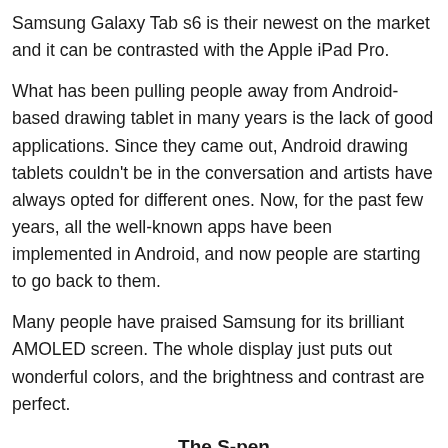Samsung Galaxy Tab s6 is their newest on the market and it can be contrasted with the Apple iPad Pro.
What has been pulling people away from Android-based drawing tablet in many years is the lack of good applications. Since they came out, Android drawing tablets couldn't be in the conversation and artists have always opted for different ones. Now, for the past few years, all the well-known apps have been implemented in Android, and now people are starting to go back to them.
Many people have praised Samsung for its brilliant AMOLED screen. The whole display just puts out wonderful colors, and the brightness and contrast are perfect.
The S-pen
In recent times, Samsung has made lots of improvements to the